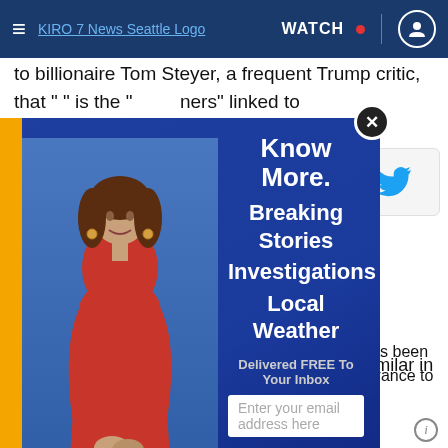≡  KIRO 7 News Seattle Logo  WATCH •  👤
to billionaire Tom Steyer, a frequent Trump critic, that " " is the "...ners" linked to
[Figure (screenshot): KIRO 7 News newsletter subscription modal overlay with anchor woman in red dress, blue/gold gradient background, text: Know More. Breaking Stories Investigations Local Weather. Delivered FREE To Your Inbox. Email input field. Subscribe button. KIRO 7 NEWS logo.]
kage was recovered last night in California, similar in appearance to the others, addressed to Tom Steyer."
6:32 PM · Nov 2, 2018